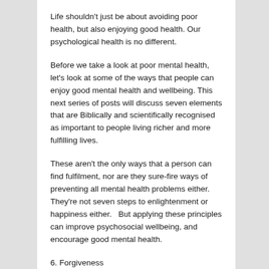Life shouldn’t just be about avoiding poor health, but also enjoying good health. Our psychological health is no different.
Before we take a look at poor mental health, let’s look at some of the ways that people can enjoy good mental health and wellbeing. This next series of posts will discuss seven elements that are Biblically and scientifically recognised as important to people living richer and more fulfilling lives.
These aren’t the only ways that a person can find fulfilment, nor are they sure-fire ways of preventing all mental health problems either. They’re not seven steps to enlightenment or happiness either.   But applying these principles can improve psychosocial wellbeing, and encourage good mental health.
6. Forgiveness
“You’d think after five months of lying on my back, I would